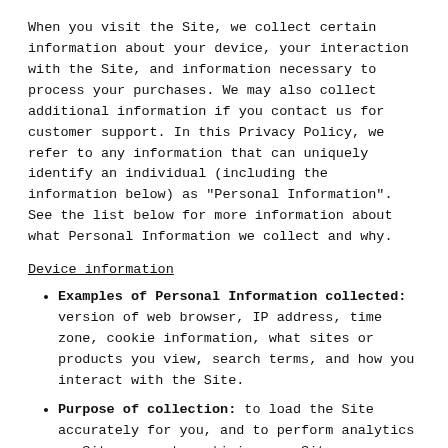When you visit the Site, we collect certain information about your device, your interaction with the Site, and information necessary to process your purchases. We may also collect additional information if you contact us for customer support. In this Privacy Policy, we refer to any information that can uniquely identify an individual (including the information below) as "Personal Information". See the list below for more information about what Personal Information we collect and why.
Device information
Examples of Personal Information collected: version of web browser, IP address, time zone, cookie information, what sites or products you view, search terms, and how you interact with the Site.
Purpose of collection: to load the Site accurately for you, and to perform analytics on Site usage to optimize our Site.
Source of collection: Collected automatically when you